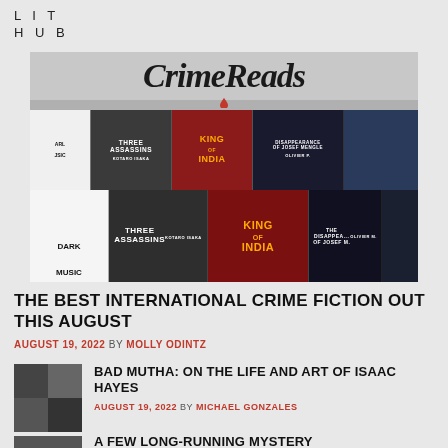LIT
HUB
[Figure (photo): CrimeReads banner with book covers including Dark Music, Three Assassins, King of India, Disappearance of Josef Mengele, and others]
THE BEST INTERNATIONAL CRIME FICTION OUT THIS AUGUST
AUGUST 19, 2022 BY MOLLY ODINTZ
[Figure (photo): Thumbnail image with dark checkered squares for Isaac Hayes article]
BAD MUTHA: ON THE LIFE AND ART OF ISAAC HAYES
AUGUST 19, 2022 BY MICHAEL GONZALES
A FEW LONG-RUNNING MYSTERY